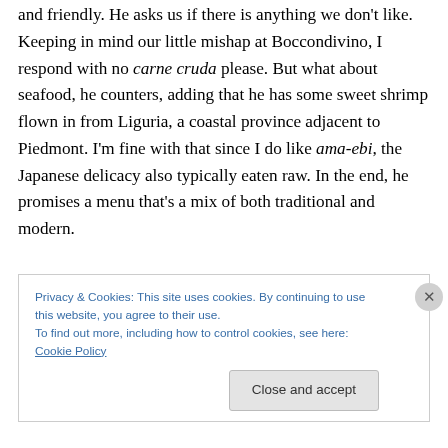and friendly. He asks us if there is anything we don't like. Keeping in mind our little mishap at Boccondivino, I respond with no carne cruda please. But what about seafood, he counters, adding that he has some sweet shrimp flown in from Liguria, a coastal province adjacent to Piedmont. I'm fine with that since I do like ama-ebi, the Japanese delicacy also typically eaten raw. In the end, he promises a menu that's a mix of both traditional and modern.
After he disappears back into the kitchen, the procession of dishes commences.
Privacy & Cookies: This site uses cookies. By continuing to use this website, you agree to their use. To find out more, including how to control cookies, see here: Cookie Policy